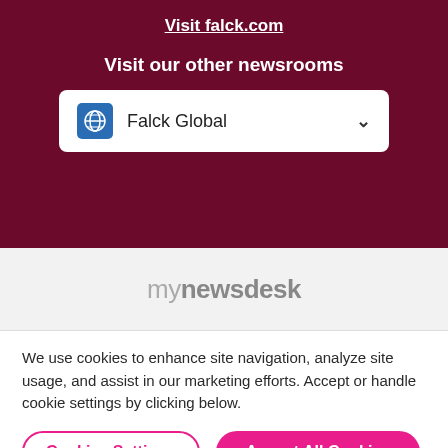Visit falck.com
Visit our other newsrooms
[Figure (other): Dropdown selector showing 'Falck Global' with a globe icon and chevron]
[Figure (logo): mynewsdesk logo in grey tones]
We use cookies to enhance site navigation, analyze site usage, and assist in our marketing efforts. Accept or handle cookie settings by clicking below.
Cookies Settings
Accept All Cookies